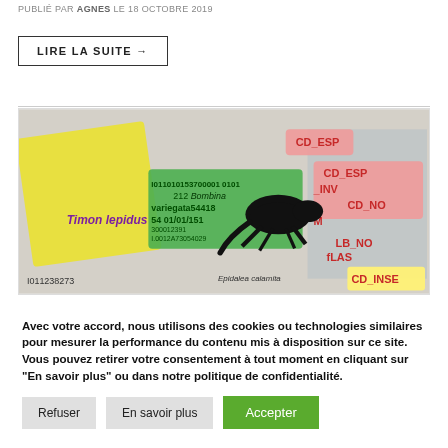PUBLIÉ PAR AGNES LE 18 OCTOBRE 2019
LIRE LA SUITE →
[Figure (screenshot): Screenshot of a nature database interface showing lizard species records with colored annotation labels: CD_ESP, CD_ESP_INV, CD_NOM, LB_NOM, fLAS, CD_INSE. Species visible: Timon lepidus, Bombina variegata54418, Epidalea calamita. Silhouette of a lizard overlaid.]
Avec votre accord, nous utilisons des cookies ou technologies similaires pour mesurer la performance du contenu mis à disposition sur ce site. Vous pouvez retirer votre consentement à tout moment en cliquant sur "En savoir plus" ou dans notre politique de confidentialité.
Refuser
En savoir plus
Accepter